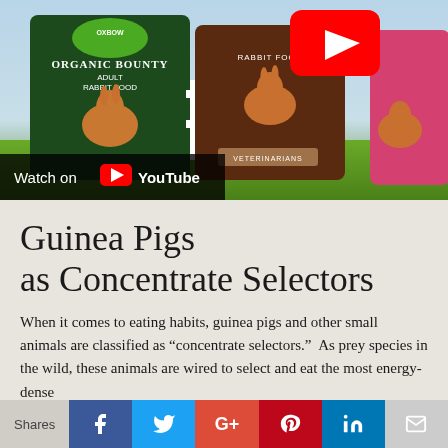[Figure (screenshot): YouTube video thumbnail showing Oxbow rabbit food product bags on grass with YouTube play button overlay and 'Watch on YouTube' label]
Guinea Pigs as Concentrate Selectors
When it comes to eating habits, guinea pigs and other small animals are classified as “concentrate selectors.”  As prey species in the wild, these animals are wired to select and eat the most energy-dense
Shares | Facebook | Twitter | Google+ | Pinterest | LinkedIn | Email